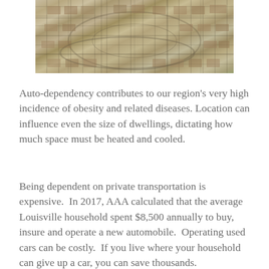[Figure (photo): Aerial photograph of a suburban residential neighborhood showing houses arranged in curved streets and cul-de-sacs]
Auto-dependency contributes to our region's very high incidence of obesity and related diseases. Location can influence even the size of dwellings, dictating how much space must be heated and cooled.
Being dependent on private transportation is expensive. In 2017, AAA calculated that the average Louisville household spent $8,500 annually to buy, insure and operate a new automobile. Operating used cars can be costly. If you live where your household can give up a car, you can save thousands.